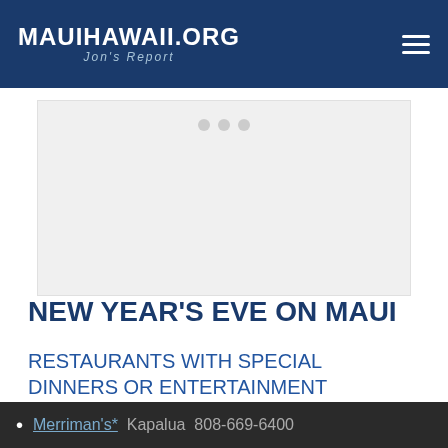MauiHawaii.org — Jon's Report
[Figure (other): Advertisement or slideshow placeholder area with three small dots indicating a carousel/slider]
NEW YEAR'S EVE ON MAUI
RESTAURANTS WITH SPECIAL DINNERS OR ENTERTAINMENT
Merriman's*  Kapalua  808-669-6400